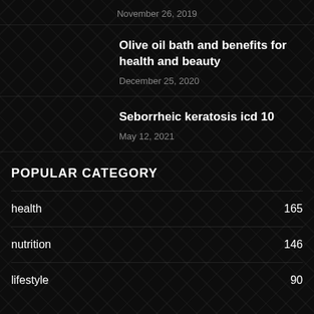November 26, 2019
Olive oil bath and benefits for health and beauty
December 25, 2020
Seborrheic keratosis icd 10
May 12, 2021
POPULAR CATEGORY
health   165
nutrition   146
lifestyle   90